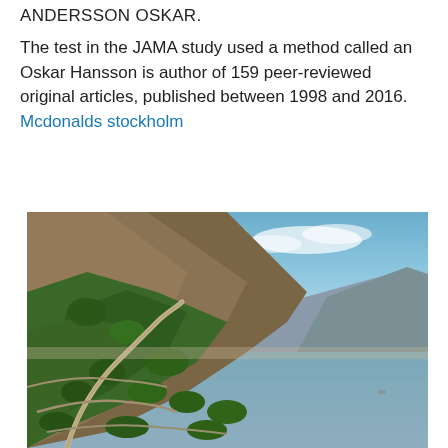ANDERSSON OSKAR.
The test in the JAMA study used a method called an Oskar Hansson is author of 159 peer-reviewed original articles, published between 1998 and 2016. Mcdonalds stockholm
[Figure (photo): Panoramic coastal landscape photograph showing steep rocky hillside covered in green vegetation with a winding road, overlooking a calm sea under a partly cloudy blue sky at sunset or sunrise.]